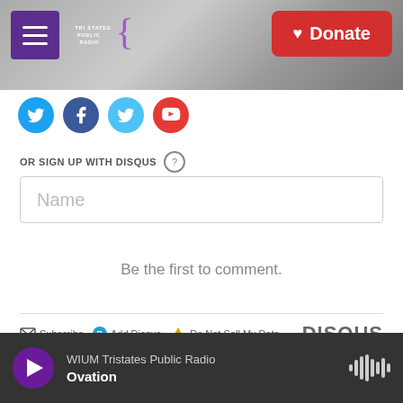[Figure (screenshot): Website header with hamburger menu icon, Tri States Public Radio logo, and red Donate button over a grayscale background photo]
[Figure (screenshot): Row of four social media icon circles (Twitter, Facebook, Twitter blue, YouTube red)]
OR SIGN UP WITH DISQUS ?
Name
Be the first to comment.
Subscribe  Add Disqus  Do Not Sell My Data   DISQUS
WIUM Tristates Public Radio  Ovation